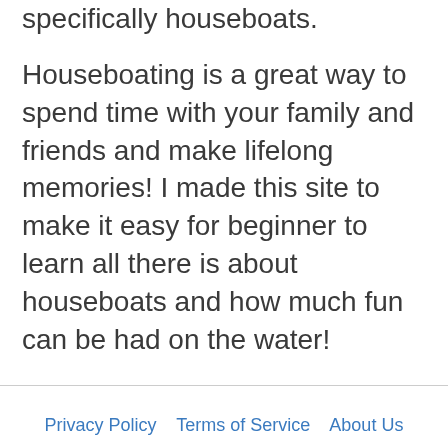specifically houseboats.
Houseboating is a great way to spend time with your family and friends and make lifelong memories! I made this site to make it easy for beginner to learn all there is about houseboats and how much fun can be had on the water!
Privacy Policy   Terms of Service   About Us